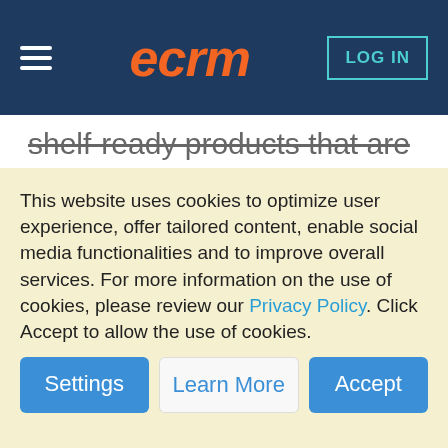eCRM | LOG IN
shelf-ready products that are ready to ship to Walmart. In the application process we’ll ask them questions that help us determine this. Basically, they need to have their packaging done, can ship a PO the week after the event, and they are ready to get on the shelves. The product should be
This website uses cookies to optimize user experience, offer tailored content, enable social media functionalities and to improve overall services. For more information on the use of cookies, please review our Privacy Policy. Click Accept to allow the use of cookies.
Settings | Learn More | Accept